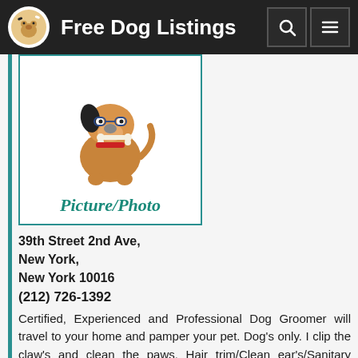Free Dog Listings
[Figure (illustration): Cartoon dog with a bone in mouth sitting, placeholder image labeled Picture/Photo]
39th Street 2nd Ave,
New York,
New York 10016
(212) 726-1392
Certified, Experienced and Professional Dog Groomer will travel to your home and pamper your pet. Dog's only. I clip the claw's and clean the paws. Hair trim/Clean ear's/Sanitary clip(s)/Bath/Brush out/Blow dry/Dental Cleaning. I offer special pac...Read More